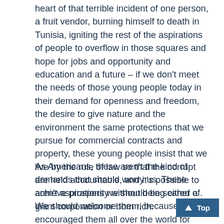heart of that terrible incident of one person, a fruit vendor, burning himself to death in Tunisia, igniting the rest of the aspirations of people to overflow in those squares and hope for jobs and opportunity and education and a future – if we don't meet the needs of those young people today in their demand for openness and freedom, the desire to give nature and the environment the same protections that we pursue for commercial contracts and property, these young people insist that we live by the rule of law so that the corrupt are held accountable, and it's possible to achieve prosperity without being either a giant corporation or born rich.
As Americans, these aren't the kind of demands that should worry us. These aren't aspirations we should be scared of. We should welcome them, because we've encouraged them all over the world for decades. They are, on the contrary, the hopes and expectations that the United States should embrace. They reflect principles that can help us modernize and strengthen our partnerships across both oceans. They can elevate the way the whole world does business. And the